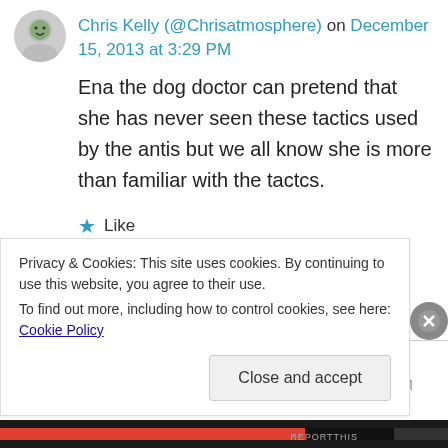Chris Kelly (@Chrisatmosphere) on December 15, 2013 at 3:29 PM
Ena the dog doctor can pretend that she has never seen these tactics used by the antis but we all know she is more than familiar with the tactcs.
★ Like
↪ Reply
Joel Robinson December 16, 2013 at 1:48 PM
Privacy & Cookies: This site uses cookies. By continuing to use this website, you agree to their use.
To find out more, including how to control cookies, see here: Cookie Policy
Close and accept